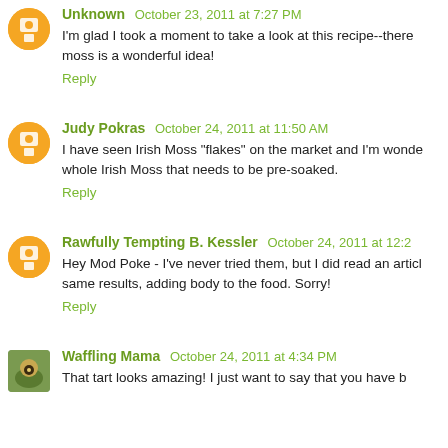Unknown October 23, 2011 at 7:27 PM
I'm glad I took a moment to take a look at this recipe--there moss is a wonderful idea!
Reply
Judy Pokras October 24, 2011 at 11:50 AM
I have seen Irish Moss "flakes" on the market and I'm wonde whole Irish Moss that needs to be pre-soaked.
Reply
Rawfully Tempting B. Kessler October 24, 2011 at 12:2
Hey Mod Poke - I've never tried them, but I did read an articl same results, adding body to the food. Sorry!
Reply
Waffling Mama October 24, 2011 at 4:34 PM
That tart looks amazing! I just want to say that you have b